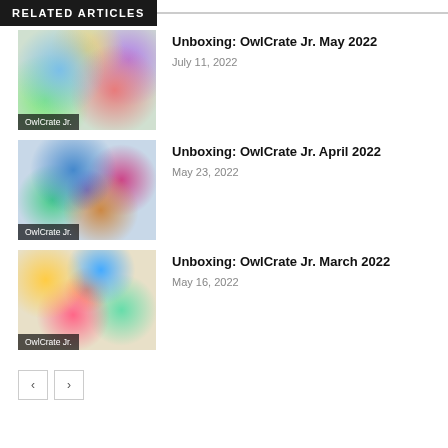RELATED ARTICLES
[Figure (photo): OwlCrate Jr. May 2022 subscription box contents with colorful items]
Unboxing: OwlCrate Jr. May 2022
July 11, 2022
[Figure (photo): OwlCrate Jr. April 2022 subscription box contents with books and accessories]
Unboxing: OwlCrate Jr. April 2022
May 23, 2022
[Figure (photo): OwlCrate Jr. March 2022 subscription box contents with stickers and colorful items]
Unboxing: OwlCrate Jr. March 2022
May 16, 2022